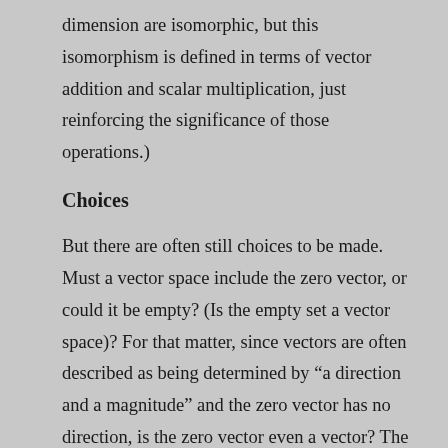dimension are isomorphic, but this isomorphism is defined in terms of vector addition and scalar multiplication, just reinforcing the significance of those operations.)
Choices
But there are often still choices to be made. Must a vector space include the zero vector, or could it be empty? (Is the empty set a vector space)? For that matter, since vectors are often described as being determined by “a direction and a magnitude” and the zero vector has no direction, is the zero vector even a vector? The answers to these questions are no and yes, respectively, but why? The zero vector is a vector, because it is so helpful for a vector space to be a group under addition, which requires an identity element. (I know — this only takes us back to why